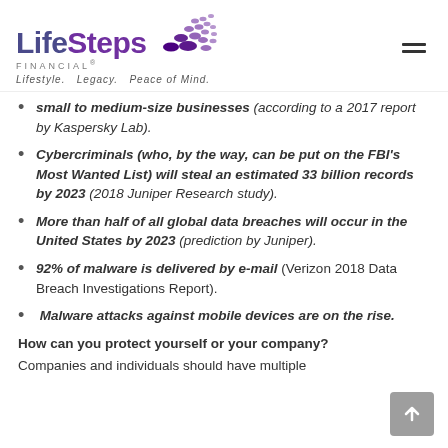LifeSteps Financial® — Lifestyle. Legacy. Peace of Mind.
small to medium-size businesses (according to a 2017 report by Kaspersky Lab).
Cybercriminals (who, by the way, can be put on the FBI's Most Wanted List) will steal an estimated 33 billion records by 2023 (2018 Juniper Research study).
More than half of all global data breaches will occur in the United States by 2023 (prediction by Juniper).
92% of malware is delivered by e-mail (Verizon 2018 Data Breach Investigations Report).
Malware attacks against mobile devices are on the rise.
How can you protect yourself or your company?
Companies and individuals should have multiple